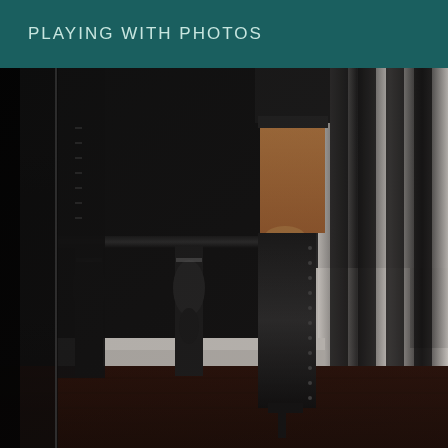PLAYING WITH PHOTOS
[Figure (photo): A boudoir-style photograph showing a woman wearing black lingerie and tall lace-up black over-the-knee boots, bending over an ornate black table with silver legs in an elegant room with white crown molding and black and white striped curtains. The floor is dark hardwood. The lighting is dramatic and moody.]